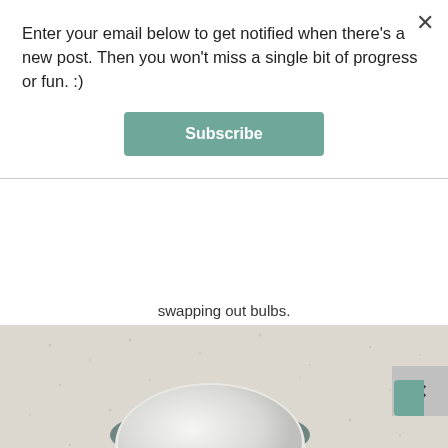Enter your email below to get notified when there's a new post. Then you won't miss a single bit of progress or fun. :)
Subscribe
swapping out bulbs.
[Figure (photo): A ceiling light fixture with a round frosted glass dome and teal/grey rim, mounted on a white textured ceiling. A white wall trim is visible at the bottom right.]